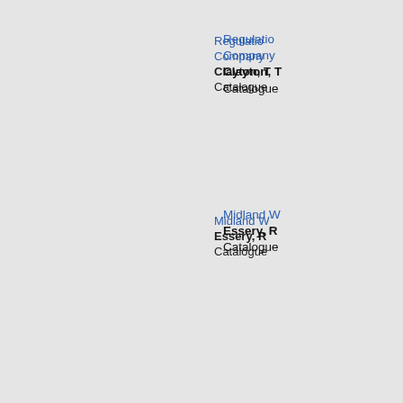Regulation... Company... Clayton, T... Catalogue...
Midland W... Essery, R... Catalogue...
Stanier Lo... Haresnap... Catalogue...
The Powe... Jenkinson... Catalogue...